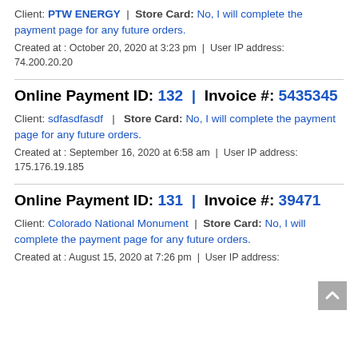Client: PTW ENERGY | Store Card: No, I will complete the payment page for any future orders.
Created at : October 20, 2020 at 3:23 pm | User IP address: 74.200.20.20
Online Payment ID: 132 | Invoice #: 5435345
Client: sdfasdfasdf | Store Card: No, I will complete the payment page for any future orders.
Created at : September 16, 2020 at 6:58 am | User IP address: 175.176.19.185
Online Payment ID: 131 | Invoice #: 39471
Client: Colorado National Monument | Store Card: No, I will complete the payment page for any future orders.
Created at : August 15, 2020 at 7:26 pm | User IP address: